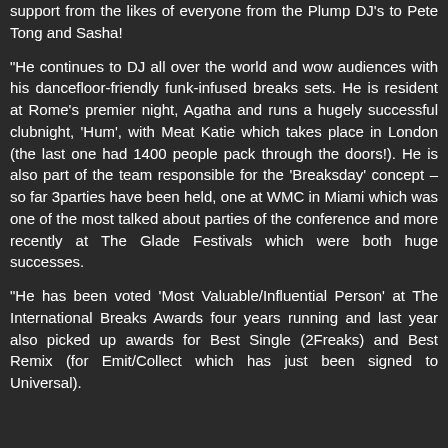support from the likes of everyone from the Plump DJ's to Pete Tong and Sasha!
"He continues to DJ all over the world and wow audiences with his dancefloor-friendly funk-infused breaks sets. He is resident at Rome's premier night, Agatha and runs a hugely successful clubnight, 'Hum', with Meat Katie which takes place in London (the last one had 1400 people pack through the doors!). He is also part of the team responsible for the 'Breaksday' concept – so far 3parties have been held, one at WMC in Miami which was one of the most talked about parties of the conference and more recently at The Glade Festivals which were both huge successes.
"He has been voted 'Most Valuable/Influential Person' at The International Breaks Awards four years running and last year also picked up awards for Best Single (2Freaks) and Best Remix (for Emit/Collect which has just been signed to Universal).